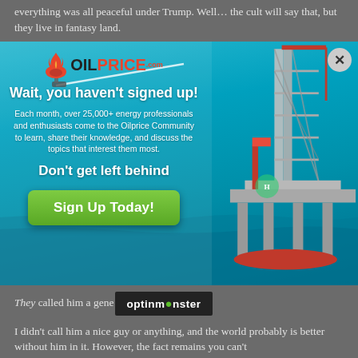everything was all peaceful under Trump. Well… the cult will say that, but they live in fantasy land.
[Figure (screenshot): OilPrice.com popup advertisement over an ocean oil rig background. Contains OilPrice logo, headline 'Wait, you haven't signed up!', body text about 25,000+ energy professionals, subheadline 'Don't get left behind', green 'Sign Up Today!' button, and a close X button in top right corner.]
They called him a general...
[Figure (screenshot): OptinMonster branding bar in dark background with green monster logo letter O]
I didn't call him a nice guy or anything, and the world probably is better without him in it. However, the fact remains you can't